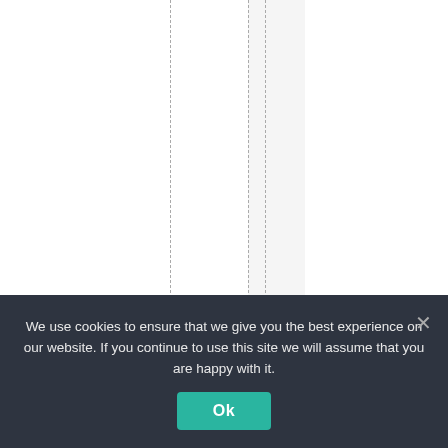rejobs—but all of the
We use cookies to ensure that we give you the best experience on our website. If you continue to use this site we will assume that you are happy with it.